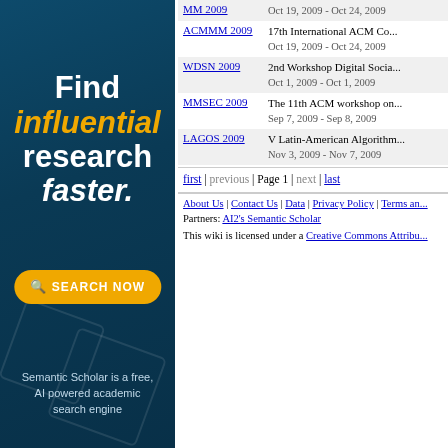[Figure (illustration): Semantic Scholar advertisement panel with dark teal background. Text reads 'Find influential research faster.' with an orange 'SEARCH NOW' button. Bottom text: 'Semantic Scholar is a free, AI powered academic search engine']
| Conference | Details |
| --- | --- |
| MM 2009 | Oct 19, 2009 - Oct 24, 2009 |
| ACMMM 2009 | 17th International ACM Co...
Oct 19, 2009 - Oct 24, 2009 |
| WDSN 2009 | 2nd Workshop Digital Socia...
Oct 1, 2009 - Oct 1, 2009 |
| MMSEC 2009 | The 11th ACM workshop on...
Sep 7, 2009 - Sep 8, 2009 |
| LAGOS 2009 | V Latin-American Algorithm...
Nov 3, 2009 - Nov 7, 2009 |
first | previous | Page 1 | next | last
About Us | Contact Us | Data | Privacy Policy | Terms an...
Partners: AI2's Semantic Scholar
This wiki is licensed under a Creative Commons Attribu...